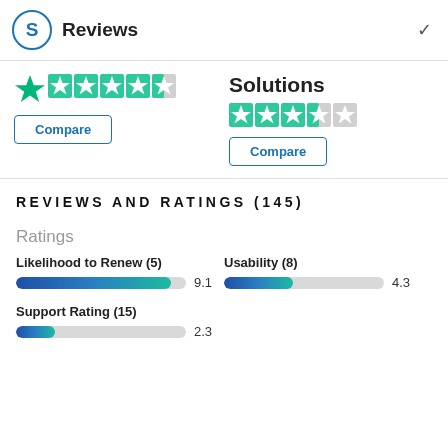Reviews
[Figure (other): Star rating with 4.5 stars (teal/green color)]
Compare
Solutions
[Figure (other): Star rating with 4 stars out of 5 (teal/green color)]
Compare
REVIEWS AND RATINGS (145)
Ratings
Likelihood to Renew (5)
[Figure (bar-chart): Likelihood to Renew (5)]
Usability (8)
[Figure (bar-chart): Usability (8)]
Support Rating (15)
[Figure (bar-chart): Support Rating (15)]